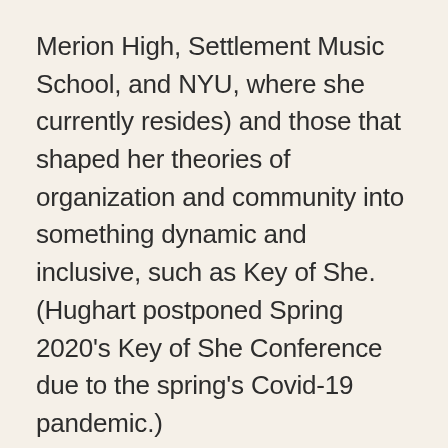Merion High, Settlement Music School, and NYU, where she currently resides) and those that shaped her theories of organization and community into something dynamic and inclusive, such as Key of She. (Hughart postponed Spring 2020's Key of She Conference due to the spring's Covid-19 pandemic.)
“I was 12, starting in jazz big band and noticed I was one of few girls, so I decided to put together the girls in the school district as a community, an ensemble where we could play without boundaries,” said Hughart. That ensemble moved